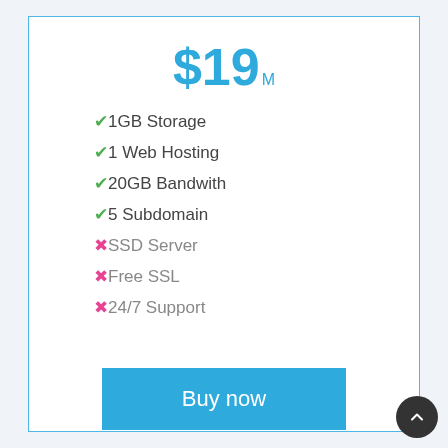$19M
✓ 1GB Storage
✓ 1 Web Hosting
✓ 20GB Bandwith
✓ 5 Subdomain
✗ SSD Server
✗ Free SSL
✗ 24/7 Support
Buy now